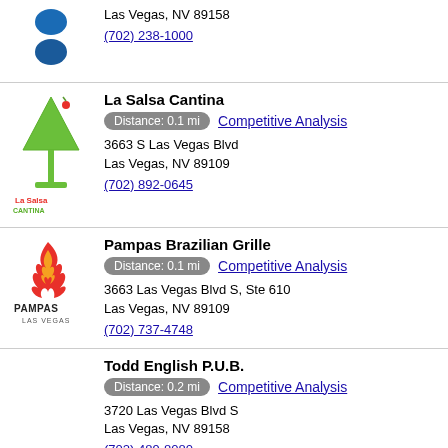Las Vegas, NV 89158
(702) 238-1000
La Salsa Cantina
Distance: 0.1 mi  Competitive Analysis
3663 S Las Vegas Blvd
Las Vegas, NV 89109
(702) 892-0645
Pampas Brazilian Grille
Distance: 0.1 mi  Competitive Analysis
3663 Las Vegas Blvd S, Ste 610
Las Vegas, NV 89109
(702) 737-4748
Todd English P.U.B.
Distance: 0.2 mi  Competitive Analysis
3720 Las Vegas Blvd S
Las Vegas, NV 89158
(702) 489-8080